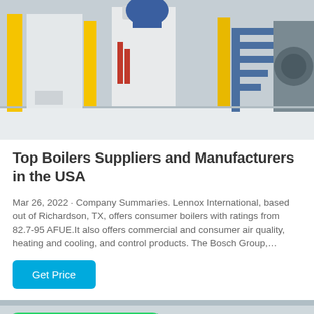[Figure (photo): Industrial boiler facility interior showing large white machinery, yellow support columns, blue metal staircase, and industrial equipment on a white floor.]
Top Boilers Suppliers and Manufacturers in the USA
Mar 26, 2022 · Company Summaries. Lennox International, based out of Richardson, TX, offers consumer boilers with ratings from 82.7-95 AFUE.It also offers commercial and consumer air quality, heating and cooling, and control products. The Bosch Group,…
Get Price
[Figure (photo): Industrial boiler room with blue, red, and white pipes and equipment, with a WhatsApp promotional badge overlay in the top-left corner.]